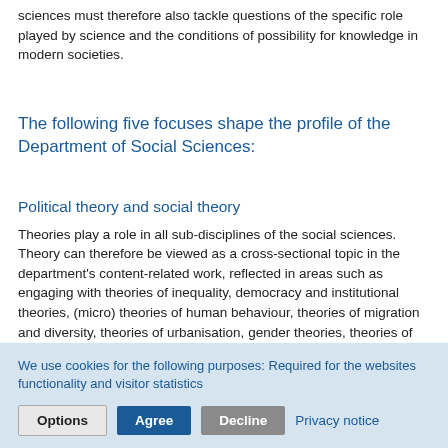sciences must therefore also tackle questions of the specific role played by science and the conditions of possibility for knowledge in modern societies.
The following five focuses shape the profile of the Department of Social Sciences:
Political theory and social theory
Theories play a role in all sub-disciplines of the social sciences. Theory can therefore be viewed as a cross-sectional topic in the department's content-related work, reflected in areas such as engaging with theories of inequality, democracy and institutional theories, (micro) theories of human behaviour, theories of migration and diversity, theories of urbanisation, gender theories, theories of work, theories of international affairs, war theories, and theories of scientific research. The constitutive element here is a conceptual and historical/contextual determination of the relationship between
We use cookies for the following purposes: Required for the websites functionality and visitor statistics
Options  Agree  Decline  Privacy notice